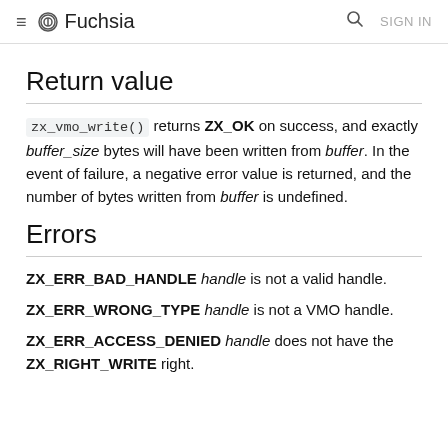≡ ∞ Fuchsia   🔍 SIGN IN
Return value
zx_vmo_write() returns ZX_OK on success, and exactly buffer_size bytes will have been written from buffer. In the event of failure, a negative error value is returned, and the number of bytes written from buffer is undefined.
Errors
ZX_ERR_BAD_HANDLE handle is not a valid handle.
ZX_ERR_WRONG_TYPE handle is not a VMO handle.
ZX_ERR_ACCESS_DENIED handle does not have the ZX_RIGHT_WRITE right.